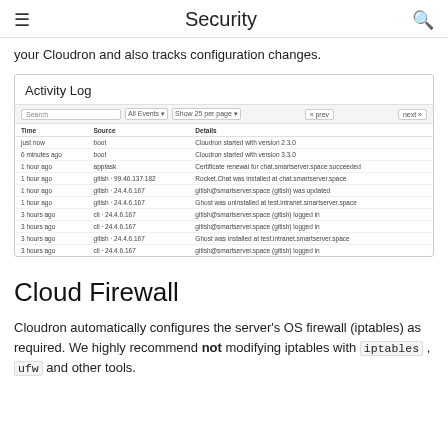Security
your Cloudron and also tracks configuration changes.
[Figure (screenshot): Activity Log screenshot showing a table with Time, Source, and Details columns. Entries include boot events, gitish IP logins, and Rocket.Chat installation records.]
Cloud Firewall
Cloudron automatically configures the server's OS firewall (iptables) as required. We highly recommend not modifying iptables with iptables, ufw and other tools.